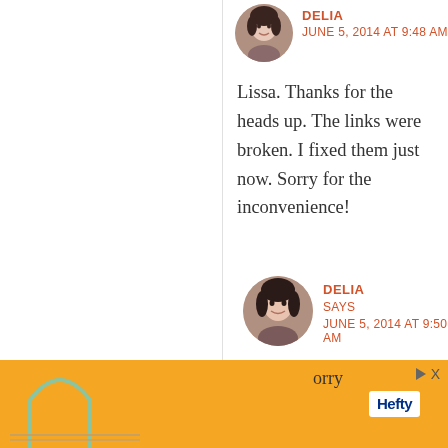[Figure (photo): Circular avatar photo of Delia, a woman with dark hair]
DELIA SAYS
JUNE 5, 2014 AT 9:48 AM
Lissa. Thanks for the heads up. The links were broken. I fixed them just now. Sorry for the inconvenience!
Reply
[Figure (photo): Circular avatar photo of Delia, a woman with dark hair]
DELIA SAYS
JUNE 5, 2014 AT 9:50 AM
Usually comments get sent to my inbox but I just went to look for your
[Figure (advertisement): Orange Hefty brand advertisement banner with logo and decorative image]